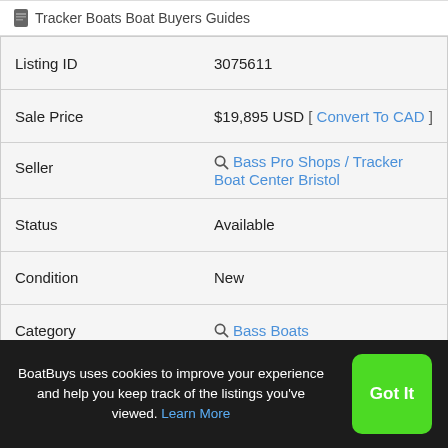Tracker Boats Boat Buyers Guides
| Field | Value |
| --- | --- |
| Listing ID | 3075611 |
| Sale Price | $19,895 USD [ Convert To CAD ] |
| Seller | Bass Pro Shops / Tracker Boat Center Bristol |
| Status | Available |
| Condition | New |
| Category | Bass Boats |
| Year | 2022 |
BoatBuys uses cookies to improve your experience and help you keep track of the listings you've viewed. Learn More